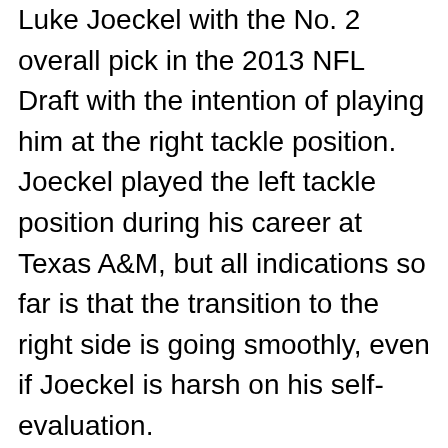Luke Joeckel with the No. 2 overall pick in the 2013 NFL Draft with the intention of playing him at the right tackle position. Joeckel played the left tackle position during his career at Texas A&M, but all indications so far is that the transition to the right side is going smoothly, even if Joeckel is harsh on his self-evaluation.